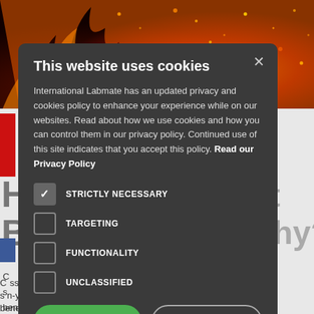[Figure (screenshot): Background showing fire/ember image at top and partial article page content below, partially obscured by a cookie consent modal dialog]
This website uses cookies
International Labmate has an updated privacy and cookies policy to enhance your experience while on our websites. Read about how we use cookies and how you can control them in our privacy policy. Continued use of this site indicates that you accept this policy. Read our Privacy Policy
STRICTLY NECESSARY (checked)
TARGETING (unchecked)
FUNCTIONALITY (unchecked)
UNCLASSIFIED (unchecked)
I AGREE | DECLINE ALL
SHOW DETAILS
beneath that simplicity there is a complex web of factors